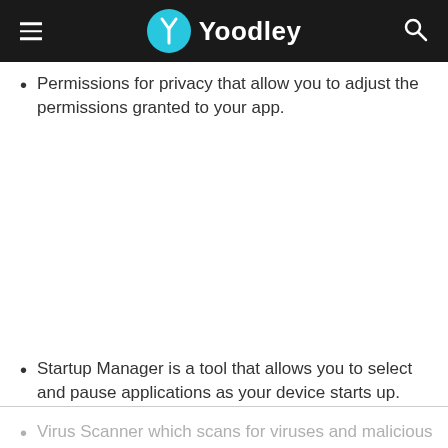Yoodley
Permissions for privacy that allow you to adjust the permissions granted to your app.
Startup Manager is a tool that allows you to select and pause applications as your device starts up.
Virus Scanner which scans for viruses and malicious